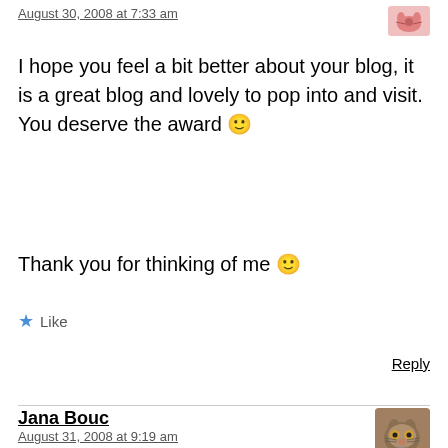August 30, 2008 at 7:33 am
I hope you feel a bit better about your blog, it is a great blog and lovely to pop into and visit. You deserve the award 🙂
Thank you for thinking of me 🙂
Like
Reply
Jana Bouc
August 31, 2008 at 9:19 am
Thanks for the award. I'm quite delighted to be mentioned on your illustrious blog. I love the sketch of the man at the very top. Very powerful